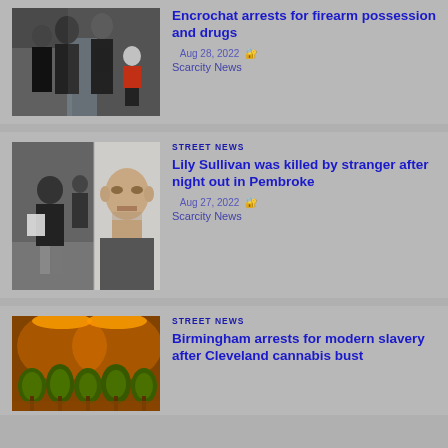[Figure (photo): Police arrest scene with officers and individuals near a vehicle, one person in red skirt visible]
Encrochat arrests for firearm possession and drugs
Aug 28, 2022  Scarcity News
[Figure (photo): Two-panel image: left shows a woman in dark jacket on street (CCTV style), right shows a bald man's mugshot]
STREET NEWS
Lily Sullivan was killed by stranger after night out in Pembroke
Aug 27, 2022  Scarcity News
[Figure (photo): Cannabis grow room with orange lighting and rows of cannabis plants]
STREET NEWS
Birmingham arrests for modern slavery after Cleveland cannabis bust